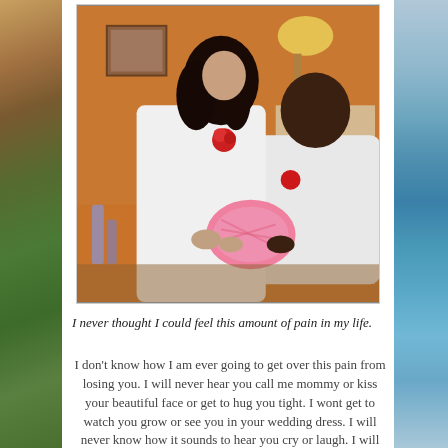[Figure (photo): A couple sitting together, the woman wearing a white lace dress with a red flower corsage, the man in white, both looking down at a pink crocheted item the woman is holding. Taken in a warm-lit indoor setting.]
I never thought I could feel this amount of pain in my life.
I don't know how I am ever going to get over this pain from losing you. I will never hear you call me mommy or kiss your beautiful face or get to hug you tight. I wont get to watch you grow or see you in your wedding dress. I will never know how it sounds to hear you cry or laugh. I will never get to tuck you in at night or see your smiling face. All I have is the little memories of your kicks and the pictures of your beautiful face. I love you more than you will ever know and I know there is just no getting over you.